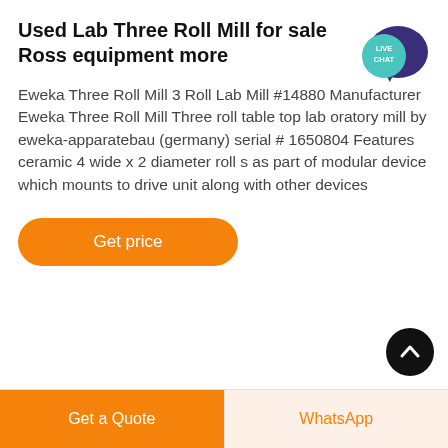Used Lab Three Roll Mill for sale Ross equipment more
[Figure (illustration): Live Chat speech bubble badge icon in teal and dark purple]
Eweka Three Roll Mill 3 Roll Lab Mill #14880 Manufacturer Eweka Three Roll Mill Three roll table top lab oratory mill by eweka-apparatebau (germany) serial # 1650804 Features ceramic 4 wide x 2 diameter roll s as part of modular device which mounts to drive unit along with other devices
[Figure (illustration): Orange rounded rectangle button labeled 'Get price']
[Figure (illustration): Black circular scroll-to-top button with upward chevron arrow]
[Figure (illustration): Bottom bar with orange 'Get a Quote' button and light 'WhatsApp' button]